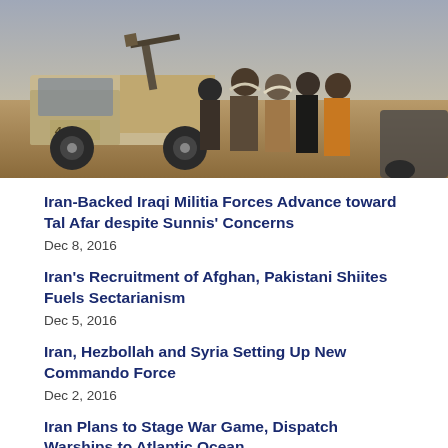[Figure (photo): Several armed militia fighters standing beside a 4x4 pickup truck with a mounted weapon in a desert/arid environment, viewed from behind.]
Iran-Backed Iraqi Militia Forces Advance toward Tal Afar despite Sunnis' Concerns
Dec 8, 2016
Iran's Recruitment of Afghan, Pakistani Shiites Fuels Sectarianism
Dec 5, 2016
Iran, Hezbollah and Syria Setting Up New Commando Force
Dec 2, 2016
Iran Plans to Stage War Game, Dispatch Warships to Atlantic Ocean
Dec 1, 2016